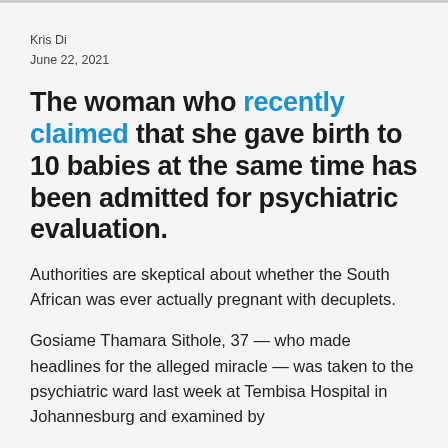Kris Di
June 22, 2021
The woman who recently claimed that she gave birth to 10 babies at the same time has been admitted for psychiatric evaluation.
Authorities are skeptical about whether the South African was ever actually pregnant with decuplets.
Gosiame Thamara Sithole, 37 — who made headlines for the alleged miracle — was taken to the psychiatric ward last week at Tembisa Hospital in Johannesburg and examined by